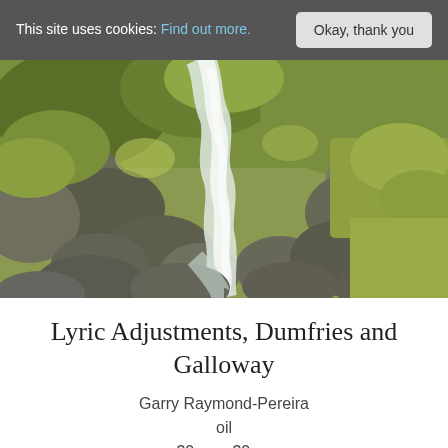This site uses cookies: Find out more. Okay, thank you
[Figure (photo): Landscape painting of a rushing stream or waterfall flowing over mossy rocks and boulders, surrounded by green moorland grasses and vegetation in Dumfries and Galloway, Scotland. The scene depicts a rugged, natural Highland setting with white foamy water cascading between grey rocks.]
Lyric Adjustments, Dumfries and Galloway
Garry Raymond-Pereira
oil
30cm x 30cm